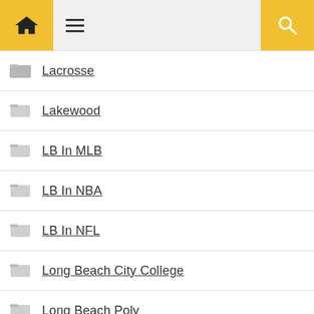Home / Menu / Search navigation header
Lacrosse
Lakewood
LB In MLB
LB In NBA
LB In NFL
Long Beach City College
Long Beach Poly
Long Beach State
Middle Schools